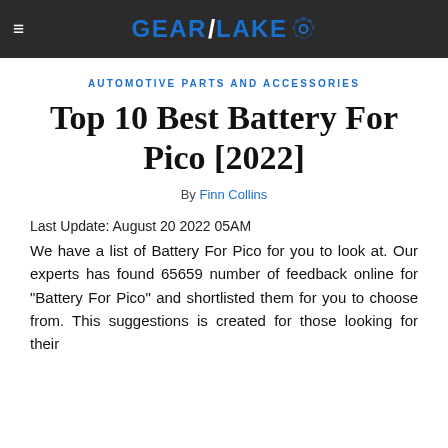≡  GEAR/LAKE [logo]
AUTOMOTIVE PARTS AND ACCESSORIES
Top 10 Best Battery For Pico [2022]
By Finn Collins
Last Update: August 20 2022 05AM
We have a list of Battery For Pico for you to look at. Our experts has found 65659 number of feedback online for "Battery For Pico" and shortlisted them for you to choose from. This suggestions is created for those looking for their